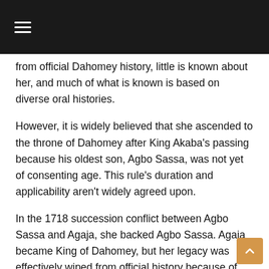≡
from official Dahomey history, little is known about her, and much of what is known is based on diverse oral histories.
However, it is widely believed that she ascended to the throne of Dahomey after King Akaba's passing because his oldest son, Agbo Sassa, was not yet of consenting age. This rule's duration and applicability aren't widely agreed upon.
In the 1718 succession conflict between Agbo Sassa and Agaja, she backed Agbo Sassa. Agaja became King of Dahomey, but her legacy was effectively wiped from official history because of her backing for his opponent.